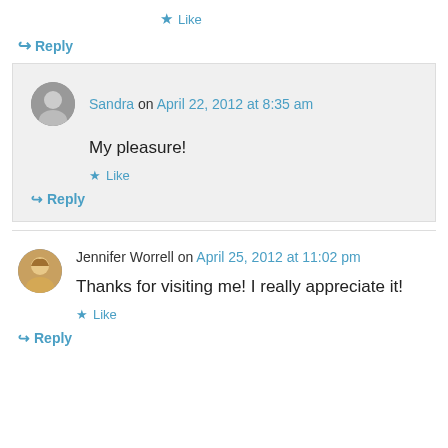★ Like
↪ Reply
Sandra on April 22, 2012 at 8:35 am
My pleasure!
★ Like
↪ Reply
Jennifer Worrell on April 25, 2012 at 11:02 pm
Thanks for visiting me! I really appreciate it!
★ Like
↪ Reply